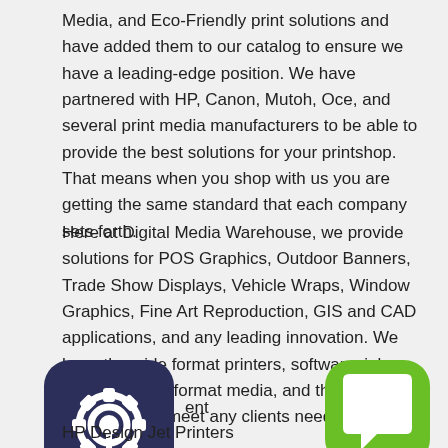Media, and Eco-Friendly print solutions and have added them to our catalog to ensure we have a leading-edge position. We have partnered with HP, Canon, Mutoh, Oce, and several print media manufacturers to be able to provide the best solutions for your printshop. That means when you shop with us you are getting the same standard that each company sets forth.
Here at Digital Media Warehouse, we provide solutions for POS Graphics, Outdoor Banners, Trade Show Displays, Vehicle Wraps, Window Graphics, Fine Art Reproduction, GIS and CAD applications, and any leading innovation. We have the wide format printers, software, ink supplies, wide format media, and the sales knowledge to meet any clients need.
[Figure (logo): Dark navy rounded-square icon with a gear/settings symbol containing a wrench or key tool in white]
ent
[Figure (logo): Green rounded-square chat bubble icon with white interior speech bubble shape]
HP Design Jet Printers